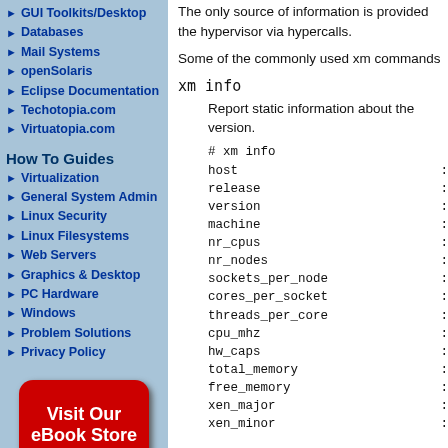GUI Toolkits/Desktop
Databases
Mail Systems
openSolaris
Eclipse Documentation
Techotopia.com
Virtuatopia.com
How To Guides
Virtualization
General System Admin
Linux Security
Linux Filesystems
Web Servers
Graphics & Desktop
PC Hardware
Windows
Problem Solutions
Privacy Policy
[Figure (illustration): Red rounded rectangle button reading 'Visit Our eBook Store' in white bold text]
The only source of information is provided the hypervisor via hypercalls.
Some of the commonly used xm commands
xm info
Report static information about the version.
# xm info
host                           : t
release                        : 5
version                        : o
machine                        : i
nr_cpus                        : 2
nr_nodes                       : 1
sockets_per_node               : 2
cores_per_socket               : 1
threads_per_core               : 1
cpu_mhz                        : 2
hw_caps                        : 0
total_memory                   : 4
free_memory                    : 1
xen_major                      : 3
xen_minor                      : 1